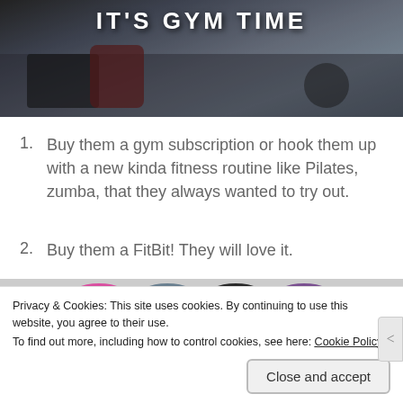[Figure (photo): Gym interior photo with people working out on exercise equipment, overlaid with bold white text 'IT'S GYM TIME']
Buy them a gym subscription or hook them up with a new kinda fitness routine like Pilates, zumba, that they always wanted to try out.
Buy them a FitBit! They will love it.
[Figure (photo): FitBit fitness tracker bands in multiple colors: pink, grey, black, purple, partially visible at bottom of page]
Privacy & Cookies: This site uses cookies. By continuing to use this website, you agree to their use.
To find out more, including how to control cookies, see here: Cookie Policy
Close and accept